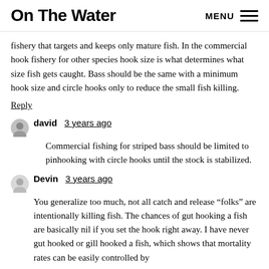On The Water   MENU
fishery that targets and keeps only mature fish. In the commercial hook fishery for other species hook size is what determines what size fish gets caught. Bass should be the same with a minimum hook size and circle hooks only to reduce the small fish killing.
Reply
david   3 years ago
Commercial fishing for striped bass should be limited to pinhooking with circle hooks until the stock is stabilized.
Devin   3 years ago
You generalize too much, not all catch and release “folks” are intentionally killing fish. The chances of gut hooking a fish are basically nil if you set the hook right away. I have never gut hooked or gill hooked a fish, which shows that mortality rates can be easily controlled by